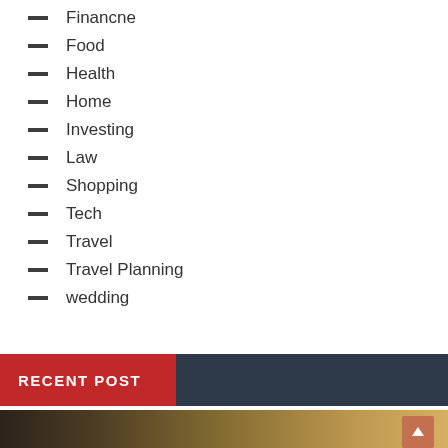Financne
Food
Health
Home
Investing
Law
Shopping
Tech
Travel
Travel Planning
wedding
RECENT POST
[Figure (photo): Blurred photo of a person writing with a pencil, warm yellow tones]